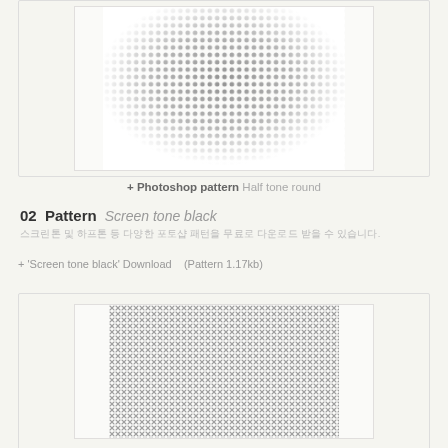[Figure (illustration): Halftone round pattern preview image showing gradient circular dots on white/cream background]
+ Photoshop pattern Half tone round
02  Pattern  Screen tone black
스크린톤 및 하프톤 등 다양한 포토샵 패턴을 무료로 다운로드 받을 수 있습니다.
+ 'Screen tone black' Download    (Pattern 1.17kb)
[Figure (illustration): Screen tone black pattern preview image showing a dense uniform grid of small X-shaped dots on cream background]
+ Photoshop pattern Screen tone black